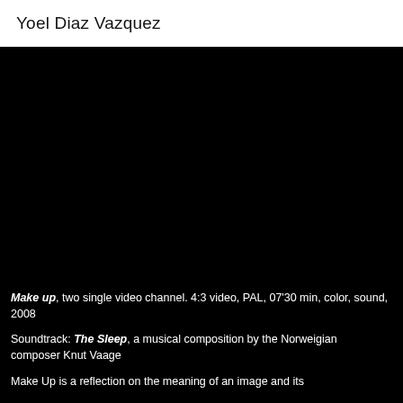Yoel Diaz Vazquez
[Figure (other): Black background video still or dark screen area used as visual context for the artwork Make up]
Make up, two single video channel. 4:3 video, PAL, 07’30 min, color, sound, 2008
Soundtrack: The Sleep, a musical composition by the Norweigian composer Knut Vaage
Make Up is a reflection on the meaning of an image and its